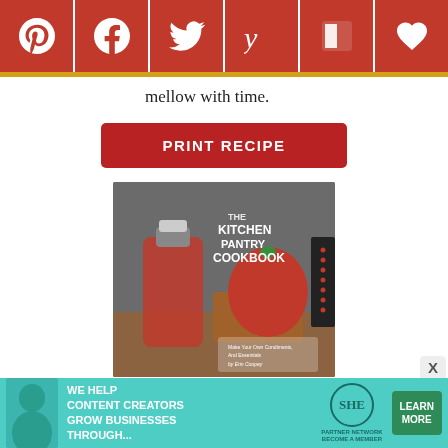[Figure (other): Social media sharing bar with Pinterest, Facebook, Twitter, Yummly, Flipboard, and heart/favorite icons on dark red background]
mellow with time.
PRINT RECIPE
[Figure (photo): Book cover of 'The Kitchen Pantry Cookbook' showing a bottle of sauce and red peppers in a wooden box on a rustic table]
[Figure (other): Advertisement banner: 'WE HELP CONTENT CREATORS GROW BUSINESSES THROUGH...' with SHE Media Partner Network logo and LEARN MORE button]